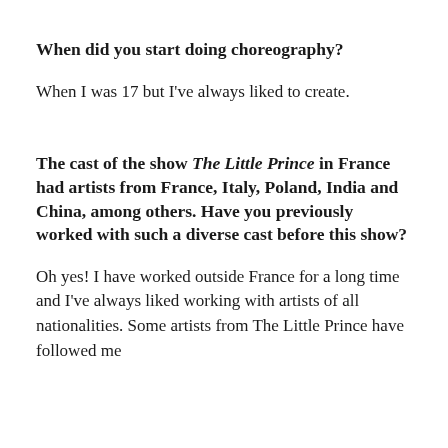When did you start doing choreography?
When I was 17 but I've always liked to create.
The cast of the show The Little Prince in France had artists from France, Italy, Poland, India and China, among others. Have you previously worked with such a diverse cast before this show?
Oh yes! I have worked outside France for a long time and I've always liked working with artists of all nationalities. Some artists from The Little Prince have followed me